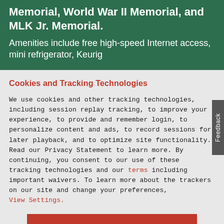Memorial, World War II Memorial, and MLK Jr. Memorial.
Amenities include free high-speed Internet access, mini refrigerator, Keurig
Cookies and Tracking Technologies
We use cookies and other tracking technologies, including session replay tracking, to improve your experience, to provide and remember login, to personalize content and ads, to record sessions for later playback, and to optimize site functionality. Read our Privacy Statement to learn more. By continuing, you consent to our use of these tracking technologies and our terms including important waivers. To learn more about the trackers on our site and change your preferences, View Settings.
ACCEPT
BOOK NOW